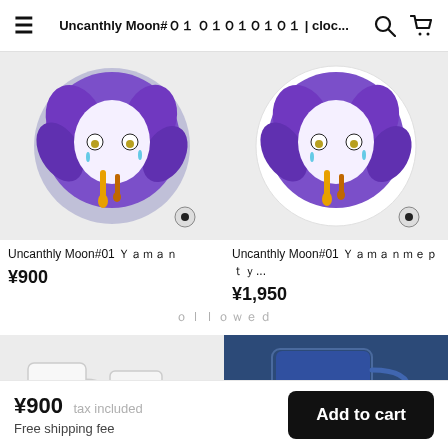≡  Uncanthly Moon#ο½× ο½ο½ο½ο½ο½ | cloc...  🔍  🛒
[Figure (photo): Product image of purple illustrated character sticker/print (left)]
Uncanthly Moon#01 ο½¹ο½ο½¯ο½ο½²
¥900
[Figure (photo): Product image of purple illustrated character sticker/print (right)]
Uncanthly Moon#01 ο½¹ο½ο½¯ο½ο½²ο½ο½ο½³ο½...
¥1,950
ο½ο½ο½ο½ο½ο½ο½
[Figure (photo): White mug product image (left)]
[Figure (photo): Blue mug product image (right)]
¥900  tax included  Free shipping fee  Add to cart